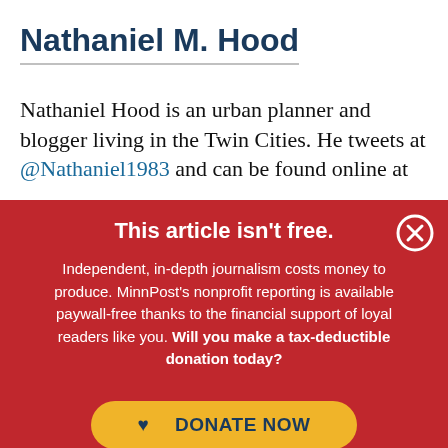Nathaniel M. Hood
Nathaniel Hood is an urban planner and blogger living in the Twin Cities. He tweets at @Nathaniel1983 and can be found online at
This article isn't free.
Independent, in-depth journalism costs money to produce. MinnPost's nonprofit reporting is available paywall-free thanks to the financial support of loyal readers like you. Will you make a tax-deductible donation today?
♥ DONATE NOW